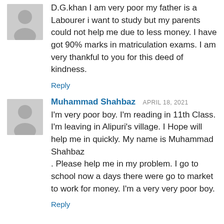D.G.khan I am very poor my father is a Labourer i want to study but my parents could not help me due to less money. I have got 90% marks in matriculation exams. I am very thankful to you for this deed of kindness.
Reply
Muhammad Shahbaz APRIL 18, 2021
I'm very poor boy. I'm reading in 11th Class. I'm leaving in Alipuri's village. I Hope will help me in quickly. My name is Muhammad Shahbaz . Please help me in my problem. I go to school now a days there were go to market to work for money. I'm a very very poor boy.
Reply